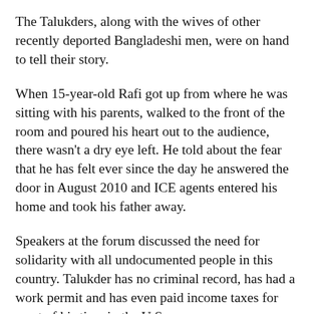The Talukders, along with the wives of other recently deported Bangladeshi men, were on hand to tell their story.
When 15-year-old Rafi got up from where he was sitting with his parents, walked to the front of the room and poured his heart out to the audience, there wasn't a dry eye left. He told about the fear that he has felt ever since the day he answered the door in August 2010 and ICE agents entered his home and took his father away.
Speakers at the forum discussed the need for solidarity with all undocumented people in this country. Talukder has no criminal record, has had a work permit and has even paid income taxes for most of his time in the U.S.
However, as event organizer Laura Villa explained, the Jackson Heights Immigrant Solidarity Network opposes all deportations, regardless of an individual's